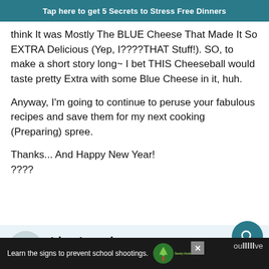Tap here to get 5 Secrets to Stress Free Dinners
think It was Mostly The BLUE Cheese That Made It So EXTRA Delicious (Yep, I????THAT Stuff!). SO, to make a short story long~ I bet THIS Cheeseball would taste pretty Extra with some Blue Cheese in it, huh.

Anyway, I'm going to continue to peruse your fabulous recipes and save them for my next cooking (Preparing) spree.

Thanks... And Happy New Year!
????
REPLY
Lisa Longley
POSTED ON 01/07/19 AT 08:28PM
[Figure (screenshot): Ad bar at bottom: Sandy Hook Promise ad with text 'Learn the signs to prevent school shootings.' and a tree logo. Close button visible.]